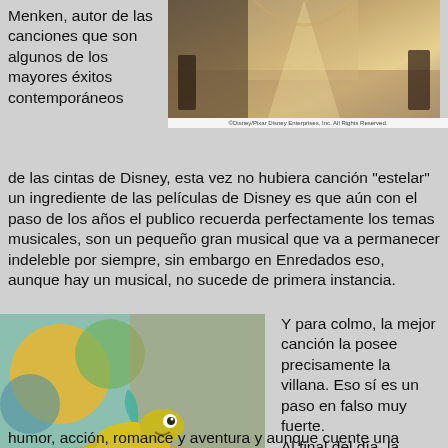Menken, autor de las canciones que son algunos de los mayores éxitos contemporáneos
[Figure (photo): Scene from animated Disney movie showing characters in a corridor with light beaming through]
©Disney/Pixar Disney Enterprises, Inc. All Rights Reserved.
de las cintas de Disney, esta vez no hubiera canción "estelar" un ingrediente de las películas de Disney es que aún con el paso de los años el publico recuerda perfectamente los temas musicales, son un pequeño gran musical que va a permanecer indeleble por siempre, sin embargo en Enredados eso, aunque hay un musical, no sucede de primera instancia.
[Figure (photo): Pascal the chameleon from the animated Disney movie Tangled/Enredados, sitting and smiling]
©Disney/Pixar Disney Enterprises, Inc. All Rights Reserved.
Y para colmo, la mejor canción la posee precisamente la villana. Eso sí es un paso en falso muy fuerte. Al final del día, la película tiene
humor, acción, romance y aventura y aunque cuente una